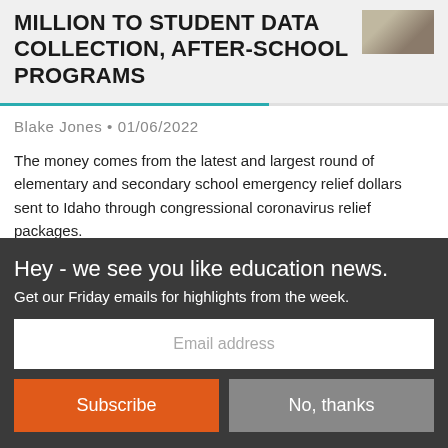MILLION TO STUDENT DATA COLLECTION, AFTER-SCHOOL PROGRAMS
Blake Jones • 01/06/2022
The money comes from the latest and largest round of elementary and secondary school emergency relief dollars sent to Idaho through congressional coronavirus relief packages.
STATE BOARD OF EDUCATION
Hey - we see you like education news.
Get our Friday emails for highlights from the week.
Email address
Subscribe
No, thanks